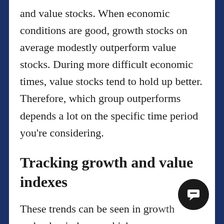and value stocks. When economic conditions are good, growth stocks on average modestly outperform value stocks. During more difficult economic times, value stocks tend to hold up better. Therefore, which group outperforms depends a lot on the specific time period you're considering.
Tracking growth and value indexes
These trends can be seen in growth and value indexes, which are